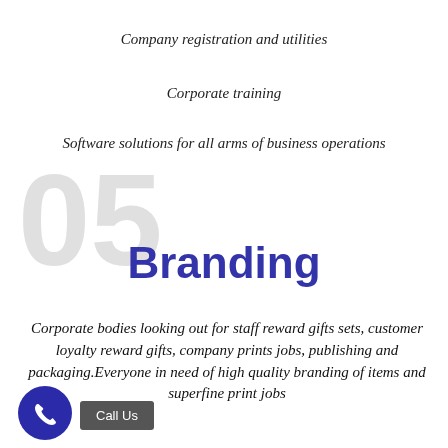Company registration and utilities
Corporate training
Software solutions for all arms of business operations
Branding
Corporate bodies looking out for staff reward gifts sets, customer loyalty reward gifts, company prints jobs, publishing and packaging.Everyone in need of high quality branding of items and superfine print jobs